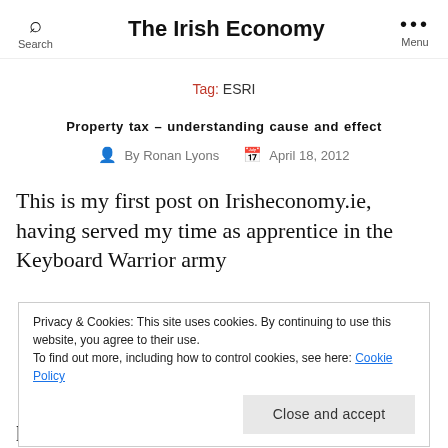The Irish Economy
Tag: ESRI
Property tax – understanding cause and effect
By Ronan Lyons   April 18, 2012
This is my first post on Irisheconomy.ie, having served my time as apprentice in the Keyboard Warrior army
Privacy & Cookies: This site uses cookies. By continuing to use this website, you agree to their use. To find out more, including how to control cookies, see here: Cookie Policy
particular order):